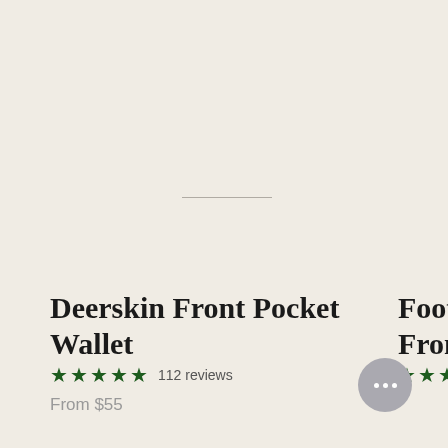[Figure (other): Horizontal divider line in the upper center of the page]
Deerskin Front Pocket Wallet
★★★★★ 112 reviews
From $55
Footba... Front...
★★★★